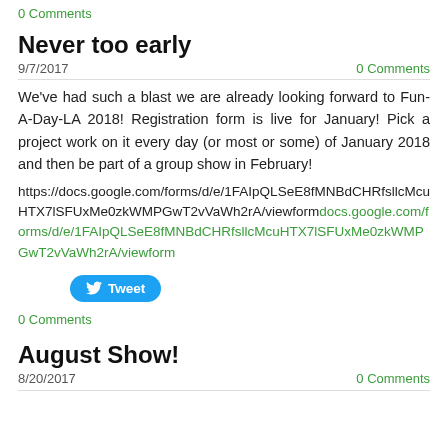0 Comments
Never too early
9/7/2017
0 Comments
We've had such a blast we are already looking forward to Fun-A-Day-LA 2018! Registration form is live for January! Pick a project work on it every day (or most or some) of January 2018 and then be part of a group show in February!
https://docs.google.com/forms/d/e/1FAIpQLSeE8fMNBdCHRfsllcMcuHTX7lSFUxMe0zkWMPGwT2vVaWh2rA/viewformdocs.google.com/forms/d/e/1FAIpQLSeE8fMNBdCHRfsllcMcuHTX7lSFUxMe0zkWMPGwT2vVaWh2rA/viewform
[Figure (other): Tweet button]
0 Comments
August Show!
8/20/2017
0 Comments